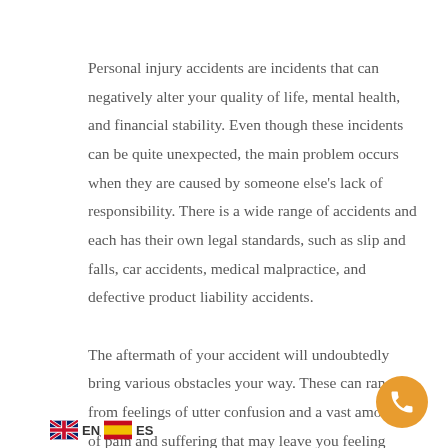Personal injury accidents are incidents that can negatively alter your quality of life, mental health, and financial stability. Even though these incidents can be quite unexpected, the main problem occurs when they are caused by someone else's lack of responsibility. There is a wide range of accidents and each has their own legal standards, such as slip and falls, car accidents, medical malpractice, and defective product liability accidents.

The aftermath of your accident will undoubtedly bring various obstacles your way. These can range from feelings of utter confusion and a vast amount of pain and suffering that may leave you feeling hopeless.
[Figure (other): UK flag icon followed by EN text and Spanish flag icon followed by ES text — language selector]
[Figure (other): Orange circular phone/call button in bottom right corner]